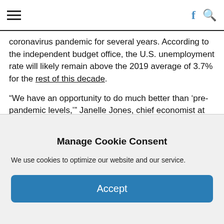Navigation bar with hamburger menu, Facebook icon, and search icon
coronavirus pandemic for several years. According to the independent budget office, the U.S. unemployment rate will likely remain above the 2019 average of 3.7% for the rest of this decade.
“We have an opportunity to do much better than ‘pre-pandemic levels,’” Janelle Jones, chief economist at the Labor Department, tweeted in response to the CBO’s projections. “For millions of Americans, that was not good enough. It was a state of economic instability and insecurity. Let’s do better.”
Pushing back against the argument that the CBO’s findings on economic growth suggest a large stimulus package is unnecessary,
Manage Cookie Consent
We use cookies to optimize our website and our service.
Accept